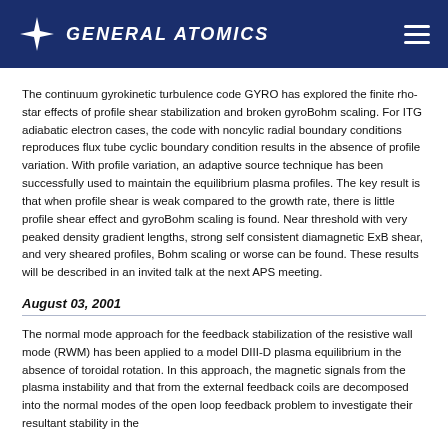GENERAL ATOMICS
The continuum gyrokinetic turbulence code GYRO has explored the finite rho-star effects of profile shear stabilization and broken gyroBohm scaling. For ITG adiabatic electron cases, the code with noncylic radial boundary conditions reproduces flux tube cyclic boundary condition results in the absence of profile variation. With profile variation, an adaptive source technique has been successfully used to maintain the equilibrium plasma profiles. The key result is that when profile shear is weak compared to the growth rate, there is little profile shear effect and gyroBohm scaling is found. Near threshold with very peaked density gradient lengths, strong self consistent diamagnetic ExB shear, and very sheared profiles, Bohm scaling or worse can be found. These results will be described in an invited talk at the next APS meeting.
August 03, 2001
The normal mode approach for the feedback stabilization of the resistive wall mode (RWM) has been applied to a model DIII-D plasma equilibrium in the absence of toroidal rotation. In this approach, the magnetic signals from the plasma instability and that from the external feedback coils are decomposed into the normal modes of the open loop feedback problem to investigate their resultant stability in the